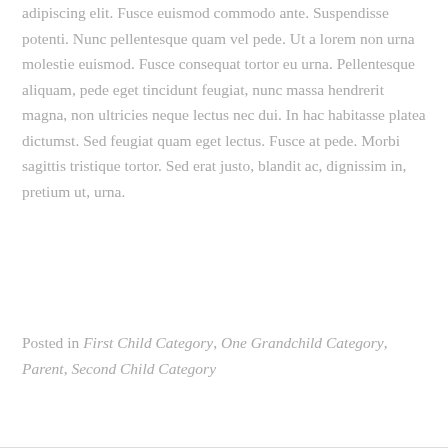adipiscing elit. Fusce euismod commodo ante. Suspendisse potenti. Nunc pellentesque quam vel pede. Ut a lorem non urna molestie euismod. Fusce consequat tortor eu urna. Pellentesque aliquam, pede eget tincidunt feugiat, nunc massa hendrerit magna, non ultricies neque lectus nec dui. In hac habitasse platea dictumst. Sed feugiat quam eget lectus. Fusce at pede. Morbi sagittis tristique tortor. Sed erat justo, blandit ac, dignissim in, pretium ut, urna.
Posted in First Child Category, One Grandchild Category, Parent, Second Child Category